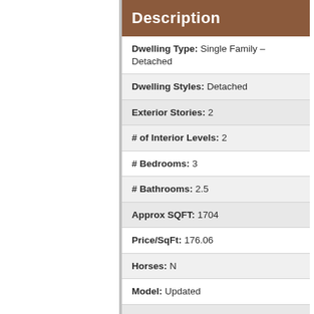Description
| Dwelling Type | Single Family – Detached |
| Dwelling Styles | Detached |
| Exterior Stories | 2 |
| # of Interior Levels | 2 |
| # Bedrooms | 3 |
| # Bathrooms | 2.5 |
| Approx SQFT | 1704 |
| Price/SqFt | 176.06 |
| Horses | N |
| Model | Updated |
| Builder Name | US Homes |
| Year Built | 1987 |